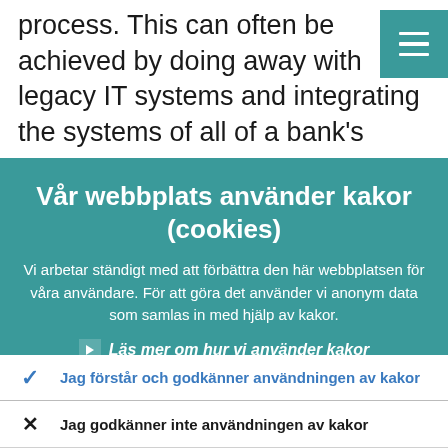process. This can often be achieved by doing away with legacy IT systems and integrating the systems of all of a bank's
[Figure (screenshot): Hamburger menu icon button with teal background and three white horizontal lines]
Vår webbplats använder kakor (cookies)
Vi arbetar ständigt med att förbättra den här webbplatsen för våra användare. För att göra det använder vi anonym data som samlas in med hjälp av kakor.
› Läs mer om hur vi använder kakor
✓ Jag förstår och godkänner användningen av kakor
✗ Jag godkänner inte användningen av kakor